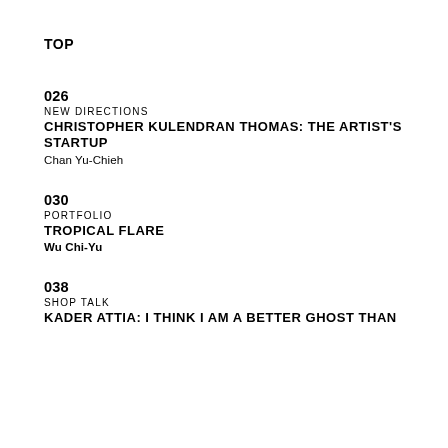TOP
026
NEW DIRECTIONS
CHRISTOPHER KULENDRAN THOMAS: THE ARTIST'S STARTUP
Chan Yu-Chieh
030
PORTFOLIO
TROPICAL FLARE
Wu Chi-Yu
038
SHOP TALK
KADER ATTIA: I THINK I AM A BETTER GHOST THAN